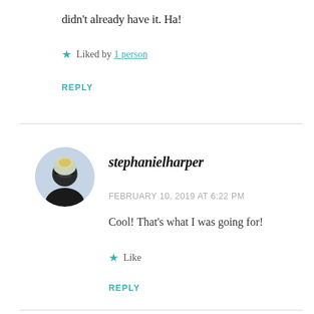didn't already have it. Ha!
★ Liked by 1 person
REPLY
[Figure (photo): Circular avatar of a person wearing sunglasses and a dark jacket, photographed looking upward outdoors]
stephanielharper
FEBRUARY 10, 2019 AT 6:22 PM
Cool! That's what I was going for!
★ Like
REPLY